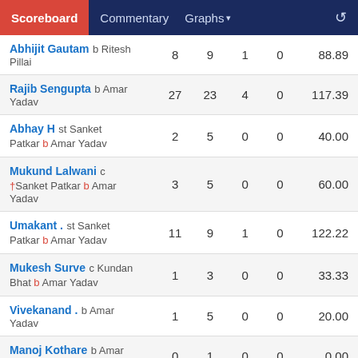Scoreboard | Commentary | Graphs
| Batsman | R | B | 4s | 6s | SR |
| --- | --- | --- | --- | --- | --- |
| Abhijit Gautam b Ritesh Pillai | 8 | 9 | 1 | 0 | 88.89 |
| Rajib Sengupta b Amar Yadav | 27 | 23 | 4 | 0 | 117.39 |
| Abhay H st Sanket Patkar b Amar Yadav | 2 | 5 | 0 | 0 | 40.00 |
| Mukund Lalwani c †Sanket Patkar b Amar Yadav | 3 | 5 | 0 | 0 | 60.00 |
| Umakant . st Sanket Patkar b Amar Yadav | 11 | 9 | 1 | 0 | 122.22 |
| Mukesh Surve c Kundan Bhat b Amar Yadav | 1 | 3 | 0 | 0 | 33.33 |
| Vivekanand . b Amar Yadav | 1 | 5 | 0 | 0 | 20.00 |
| Manoj Kothare b Amar Yadav | 0 | 1 | 0 | 0 | 0.00 |